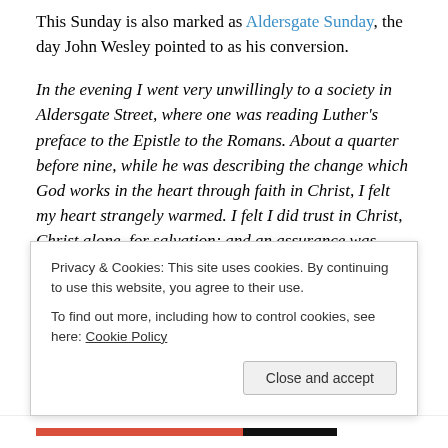This Sunday is also marked as Aldersgate Sunday, the day John Wesley pointed to as his conversion.
In the evening I went very unwillingly to a society in Aldersgate Street, where one was reading Luther's preface to the Epistle to the Romans. About a quarter before nine, while he was describing the change which God works in the heart through faith in Christ, I felt my heart strangely warmed. I felt I did trust in Christ, Christ alone, for salvation; and an assurance was given me that He had taken away my sins, even mine, and saved me from the law of sin and death.
Privacy & Cookies: This site uses cookies. By continuing to use this website, you agree to their use. To find out more, including how to control cookies, see here: Cookie Policy